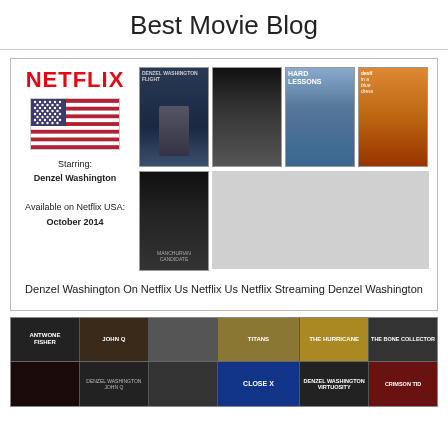Best Movie Blog
[Figure (illustration): Collage of Denzel Washington Netflix movie posters with Netflix logo and US flag on the left panel, and 5 movie posters on the right]
Denzel Washington On Netflix Us Netflix Us Netflix Streaming Denzel Washington
[Figure (illustration): Strip of Denzel Washington movie covers including Antwone Fisher, John Q, Remember the Titans, The Hurricane, The Bone Collector, and others in two rows]